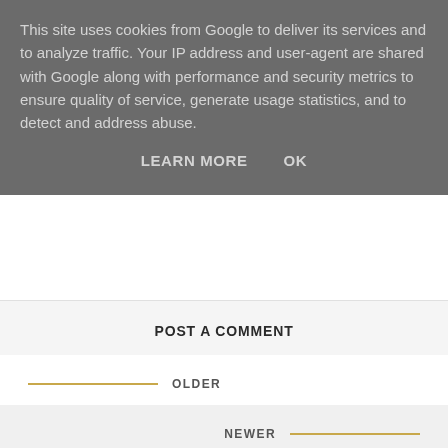This site uses cookies from Google to deliver its services and to analyze traffic. Your IP address and user-agent are shared with Google along with performance and security metrics to ensure quality of service, generate usage statistics, and to detect and address abuse.
LEARN MORE   OK
POST A COMMENT
OLDER
NEWER